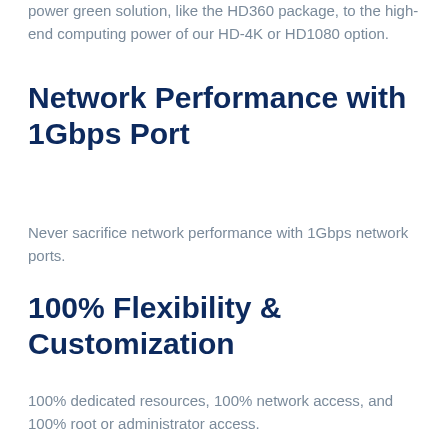power green solution, like the HD360 package, to the high-end computing power of our HD-4K or HD1080 option.
Network Performance with 1Gbps Port
Never sacrifice network performance with 1Gbps network ports.
100% Flexibility & Customization
100% dedicated resources, 100% network access, and 100% root or administrator access.